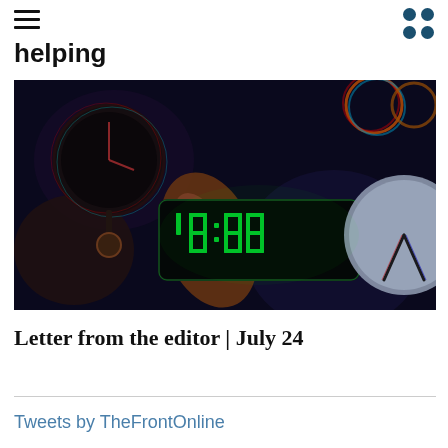helping
[Figure (photo): A dark close-up photo of a digital alarm clock displaying 10:00 in green LED digits, with a hand reaching toward it and other clocks visible in the background with chromatic aberration effects.]
Letter from the editor | July 24
Tweets by TheFrontOnline